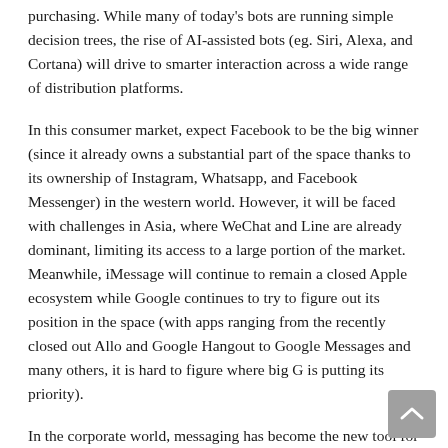purchasing. While many of today's bots are running simple decision trees, the rise of AI-assisted bots (eg. Siri, Alexa, and Cortana) will drive to smarter interaction across a wide range of distribution platforms.
In this consumer market, expect Facebook to be the big winner (since it already owns a substantial part of the space thanks to its ownership of Instagram, Whatsapp, and Facebook Messenger) in the western world. However, it will be faced with challenges in Asia, where WeChat and Line are already dominant, limiting its access to a large portion of the market. Meanwhile, iMessage will continue to remain a closed Apple ecosystem while Google continues to try to figure out its position in the space (with apps ranging from the recently closed out Allo and Google Hangout to Google Messages and many others, it is hard to figure where big G is putting its priority).
In the corporate world, messaging has become the new tool for collaboration, with Microsoft Team and Slack merging bot functionality and document management into the new center of digital business processes. If Google wants to get serious about the